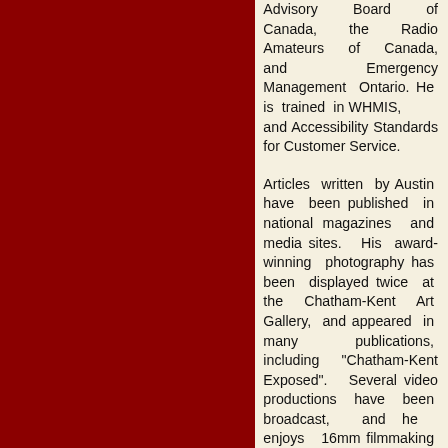Advisory Board of Canada, the Radio Amateurs of Canada, and Emergency Management Ontario. He is trained in WHMIS, and Accessibility Standards for Customer Service.
Articles written by Austin have been published in national magazines and media sites. His award-winning photography has been displayed twice at the Chatham-Kent Art Gallery, and appeared in many publications, including "Chatham-Kent Exposed". Several video productions have been broadcast, and he enjoys 16mm filmmaking and video documentaries. He's working on a script for a full length feature film...